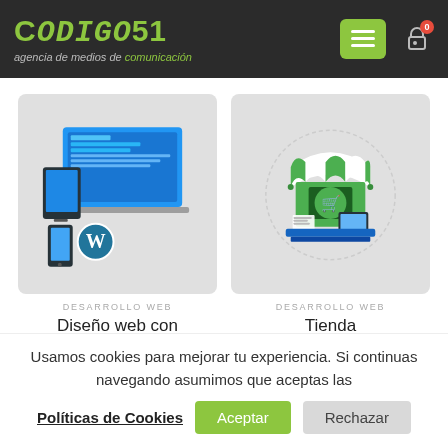CODIGOS1 - agencia de medios de comunicación
[Figure (illustration): WordPress web design product card - devices screenshot with WordPress logo on grey background]
[Figure (illustration): Online shop product card - market stall with shopping cart icon and devices on grey background]
DESARROLLO WEB
Diseño web con wordpress
DESARROLLO WEB
Tienda
Usamos cookies para mejorar tu experiencia. Si continuas navegando asumimos que aceptas las Políticas de Cookies
Aceptar
Rechazar